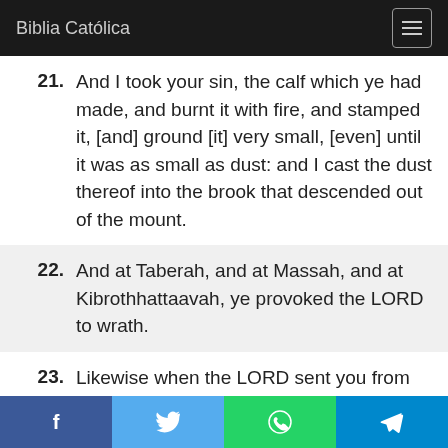Biblia Católica
21. And I took your sin, the calf which ye had made, and burnt it with fire, and stamped it, [and] ground [it] very small, [even] until it was as small as dust: and I cast the dust thereof into the brook that descended out of the mount.
22. And at Taberah, and at Massah, and at Kibrothhattaavah, ye provoked the LORD to wrath.
23. Likewise when the LORD sent you from Kadeshbarnea, saying, Go up and
f  [Twitter icon]  [WhatsApp icon]  [Telegram icon]